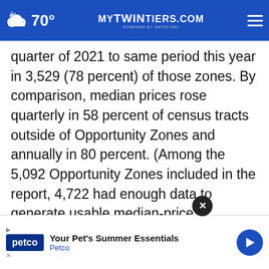70° | mytwintiers.com
quarter of 2021 to same period this year in 3,529 (78 percent) of those zones. By comparison, median prices rose quarterly in 58 percent of census tracts outside of Opportunity Zones and annually in 80 percent. (Among the 5,092 Opportunity Zones included in the report, 4,722 had enough data to generate usable median-price comparisons from the fourth quarter of 2021 to the first quarter of 2022...550
[Figure (screenshot): Petco advertisement banner - Your Pet's Summer Essentials]